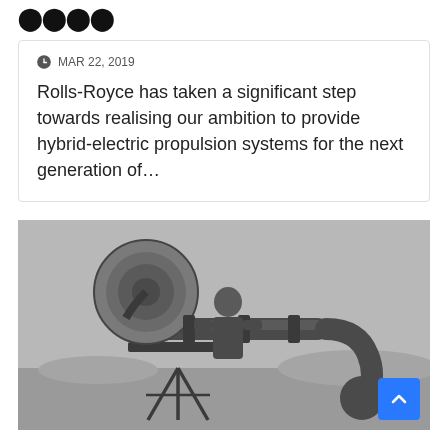TESLA
MAR 22, 2019
Rolls-Royce has taken a significant step towards realising our ambition to provide hybrid-electric propulsion systems for the next generation of…
[Figure (photo): Black and white historical photograph of a man standing behind a large mechanical device resembling an early acoustic or jet-propulsion apparatus mounted on a tripod, outdoors with a landscape in the background.]